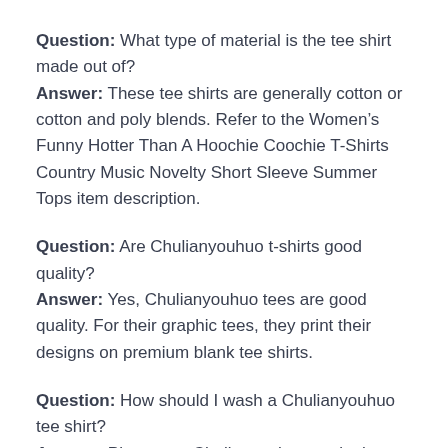Question: What type of material is the tee shirt made out of?
Answer: These tee shirts are generally cotton or cotton and poly blends. Refer to the Women's Funny Hotter Than A Hoochie Coochie T-Shirts Country Music Novelty Short Sleeve Summer Tops item description.
Question: Are Chulianyouhuo t-shirts good quality?
Answer: Yes, Chulianyouhuo tees are good quality. For their graphic tees, they print their designs on premium blank tee shirts.
Question: How should I wash a Chulianyouhuo tee shirt?
Answer: Place your Chulianyouhuo tee in the washing machine or as directed by the shirt's tag. Cool or cold